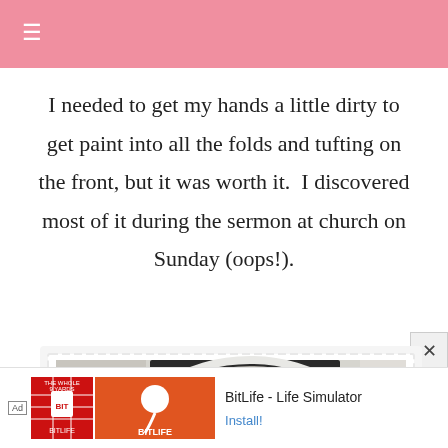≡
I needed to get my hands a little dirty to get paint into all the folds and tufting on the front, but it was worth it. I discovered most of it during the sermon at church on Sunday (oops!).
[Figure (photo): Photo of a tufted upholstered chair back in grey fabric with white painted frame, TV visible in background, shown inside a scallop-edged border frame.]
[Figure (screenshot): Advertisement banner for BitLife - Life Simulator app, showing Ad label, game icon with red background and jersey image, orange icon with sperm logo, and Install button link.]